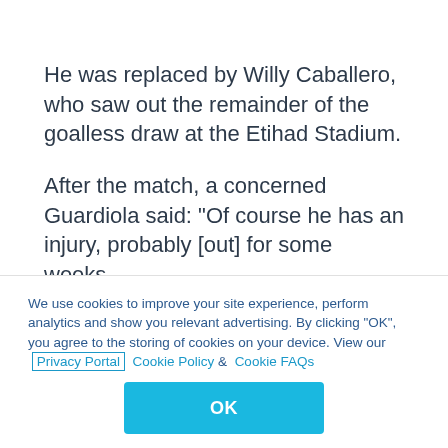He was replaced by Willy Caballero, who saw out the remainder of the goalless draw at the Etihad Stadium.
After the match, a concerned Guardiola said: "Of course he has an injury, probably [out] for some weeks.
"I don't know if he will be available again this season."
We use cookies to improve your site experience, perform analytics and show you relevant advertising. By clicking "OK", you agree to the storing of cookies on your device. View our Privacy Portal  Cookie Policy &  Cookie FAQs